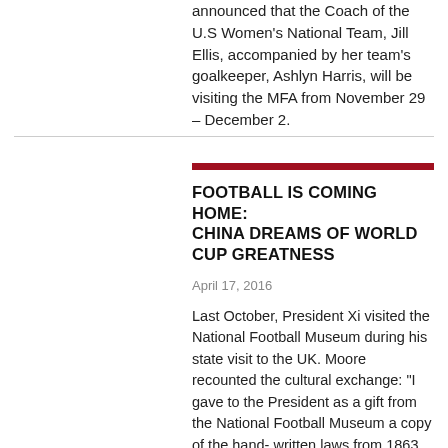announced that the Coach of the U.S Women's National Team, Jill Ellis, accompanied by her team's goalkeeper, Ashlyn Harris, will be visiting the MFA from November 29 – December 2.
FOOTBALL IS COMING HOME: CHINA DREAMS OF WORLD CUP GREATNESS
April 17, 2016
Last October, President Xi visited the National Football Museum during his state visit to the UK. Moore recounted the cultural exchange: "I gave to the President as a gift from the National Football Museum a copy of the hand- written laws from 1863, and he gave me a gift of a replica Cuju ball."